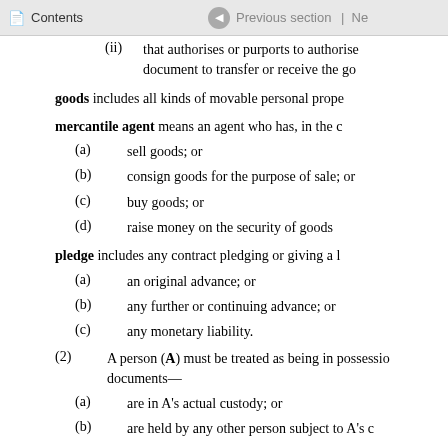Contents | Previous section | Ne
(ii) that authorises or purports to authorise document to transfer or receive the go
goods includes all kinds of movable personal prope
mercantile agent means an agent who has, in the c
(a) sell goods; or
(b) consign goods for the purpose of sale; or
(c) buy goods; or
(d) raise money on the security of goods
pledge includes any contract pledging or giving a l
(a) an original advance; or
(b) any further or continuing advance; or
(c) any monetary liability.
(2) A person (A) must be treated as being in possession documents—
(a) are in A's actual custody; or
(b) are held by any other person subject to A's c